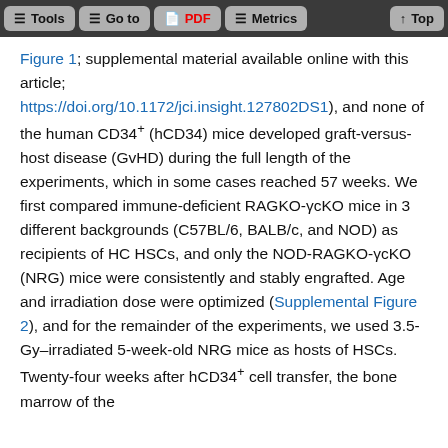Tools | Go to | PDF | Metrics | Top
Figure 1; supplemental material available online with this article; https://doi.org/10.1172/jci.insight.127802DS1), and none of the human CD34+ (hCD34) mice developed graft-versus-host disease (GvHD) during the full length of the experiments, which in some cases reached 57 weeks. We first compared immune-deficient RAGKO-ycKO mice in 3 different backgrounds (C57BL/6, BALB/c, and NOD) as recipients of HC HSCs, and only the NOD-RAGKO-ycKO (NRG) mice were consistently and stably engrafted. Age and irradiation dose were optimized (Supplemental Figure 2), and for the remainder of the experiments, we used 3.5-Gy–irradiated 5-week-old NRG mice as hosts of HSCs. Twenty-four weeks after hCD34+ cell transfer, the bone marrow of the